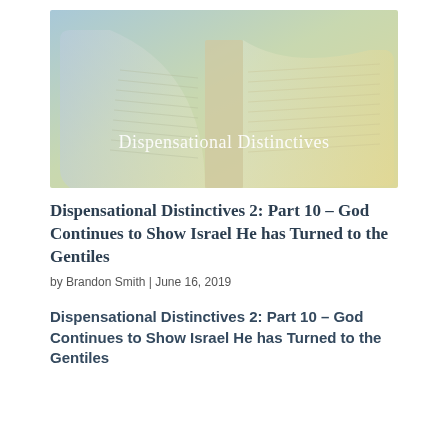[Figure (illustration): Header image of an open Bible with a soft blue and yellow gradient overlay, with white serif text reading 'Dispensational Distinctives' overlaid near the bottom center.]
Dispensational Distinctives 2: Part 10 – God Continues to Show Israel He has Turned to the Gentiles
by Brandon Smith | June 16, 2019
Dispensational Distinctives 2: Part 10 – God Continues to Show Israel He has Turned to the Gentiles